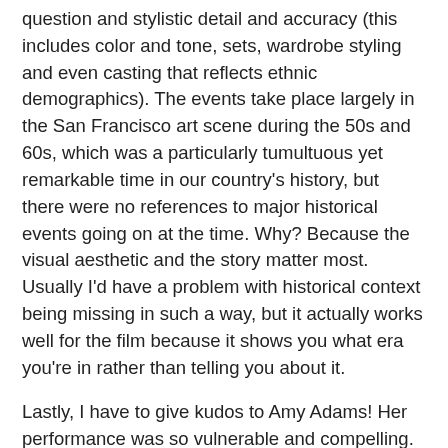question and stylistic detail and accuracy (this includes color and tone, sets, wardrobe styling and even casting that reflects ethnic demographics). The events take place largely in the San Francisco art scene during the 50s and 60s, which was a particularly tumultuous yet remarkable time in our country's history, but there were no references to major historical events going on at the time. Why? Because the visual aesthetic and the story matter most. Usually I'd have a problem with historical context being missing in such a way, but it actually works well for the film because it shows you what era you're in rather than telling you about it.
Lastly, I have to give kudos to Amy Adams! Her performance was so vulnerable and compelling. She's one of the few actresses I care about, and though I'm not cognizant of all her work I notice that she often takes roles that pay homage to women who do remarkable things (à la Julie and Julia). Much respect to her.
What I don't like about this film: I can't pinpoint anything in particular. One thing I would've liked to know is what inspired Margaret Keane to make portraits of sad-looking, big-eyed